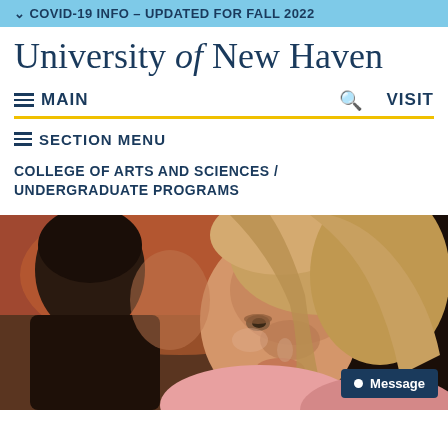COVID-19 INFO - UPDATED FOR FALL 2022
University of New Haven
MAIN   🔍   VISIT
SECTION MENU
COLLEGE OF ARTS AND SCIENCES / UNDERGRADUATE PROGRAMS
[Figure (photo): Two female students looking down at work, close-up photo with warm tones]